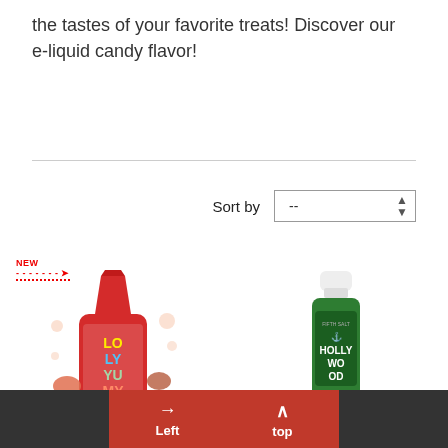the tastes of your favorite treats! Discover our e-liquid candy flavor!
[Figure (photo): Product photo of Sunny Cola 50ml Loly Yumy e.Tasty e-liquid bottle, red bottle with colorful LOLY YUMY branding, surrounded by candy and bubbles. NEW badge in top left.]
Sunny Cola 50ml Loly Yumy - e.Tasty
[Figure (photo): Product photo of Hollywood Fifty Salt Liquideo e-liquid small bottle, green label with HOLLY WOOD text, surrounded by mint leaves.]
Hollywood Fifty Salt - Liquideo
Left  top